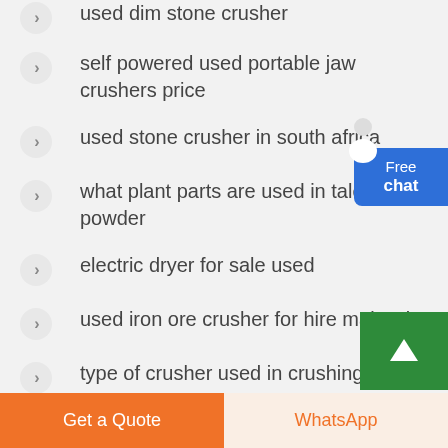used dim stone crusher
self powered used portable jaw crushers price
used stone crusher in south africa
what plant parts are used in talcum powder
electric dryer for sale used
used iron ore crusher for hire malaysia
type of crusher used in crushing of co
Free chat
Get a Quote
WhatsApp